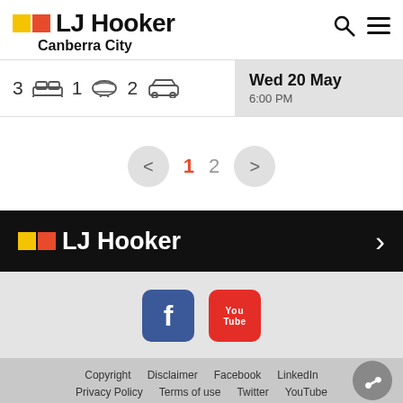[Figure (logo): LJ Hooker Canberra City logo with yellow and orange squares]
3 [bed] 1 [bath] 2 [car]   Wed 20 May 6:00 PM
< 1 2 > (pagination)
[Figure (logo): LJ Hooker logo on black banner with right arrow]
[Figure (infographic): Facebook and YouTube social media icons]
Copyright   Disclaimer   Facebook   LinkedIn   Privacy Policy   Terms of use   Twitter   YouTube